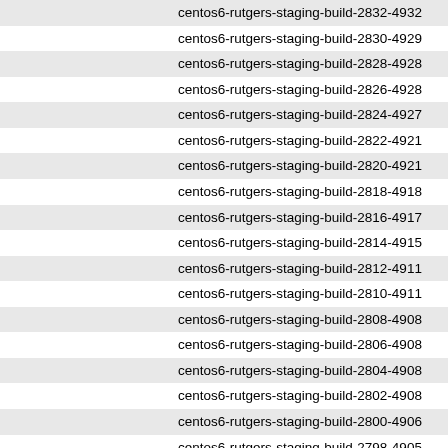centos6-rutgers-staging-build-2832-4932
centos6-rutgers-staging-build-2830-4929
centos6-rutgers-staging-build-2828-4928
centos6-rutgers-staging-build-2826-4928
centos6-rutgers-staging-build-2824-4927
centos6-rutgers-staging-build-2822-4921
centos6-rutgers-staging-build-2820-4921
centos6-rutgers-staging-build-2818-4918
centos6-rutgers-staging-build-2816-4917
centos6-rutgers-staging-build-2814-4915
centos6-rutgers-staging-build-2812-4911
centos6-rutgers-staging-build-2810-4911
centos6-rutgers-staging-build-2808-4908
centos6-rutgers-staging-build-2806-4908
centos6-rutgers-staging-build-2804-4908
centos6-rutgers-staging-build-2802-4908
centos6-rutgers-staging-build-2800-4906
centos6-rutgers-staging-build-2798-4905
centos6-rutgers-staging-build-2796-4904
centos6-rutgers-staging-build-2792-4902
centos6-rutgers-staging-build-2790-4897
centos6-rutgers-staging-build-2786-4894
centos6-rutgers-staging-build-2783-4889